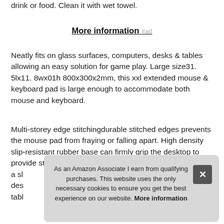drink or food. Clean it with wet towel.
More information #ad
Neatly fits on glass surfaces, computers, desks & tables allowing an easy solution for game play. Large size31. 5lx11. 8wx01h 800x300x2mm, this xxl extended mouse & keyboard pad is large enough to accommodate both mouse and keyboard.
Multi-storey edge stitchingdurable stitched edges prevents the mouse pad from fraying or falling apart. High density slip-resistant rubber base can firmly grip the desktop to provide stab... cho... a sl... des... tabl...
As an Amazon Associate I earn from qualifying purchases. This website uses the only necessary cookies to ensure you get the best experience on our website. More information